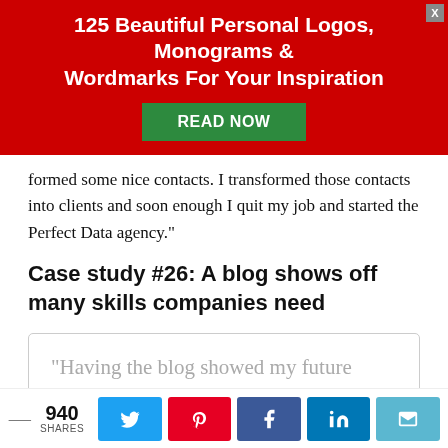[Figure (other): Red advertisement banner: '125 Beautiful Personal Logos, Monograms & Wordmarks For Your Inspiration' with green 'READ NOW' button and close X button]
formed some nice contacts. I transformed those contacts into clients and soon enough I quit my job and started the Perfect Data agency."
Case study #26: A blog shows off many skills companies need
"Having the blog showed my future employer that I had existing experience not just with writing high-quality
940 SHARES  [Twitter] [Pinterest] [Facebook] [LinkedIn] [Email]